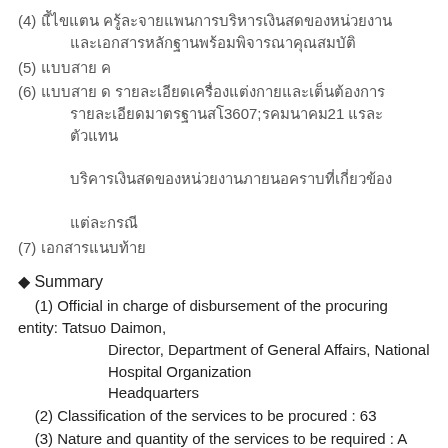(4) [Thai text - item 4 with continuation line]
(5) [Thai text - item 5]
(6) [Thai text - item 6 with multiple continuation lines including '21']
(7) [Thai text - item 7]
◆ Summary
(1) Official in charge of disbursement of the procuring entity: Tatsuo Daimon, Director, Department of General Affairs, National Hospital Organization Headquarters
(2) Classification of the services to be procured : 63
(3) Nature and quantity of the services to be required : A complete set of Online Journal 1 set.
(4) Fulfillment period : According to the tender manual.
(5) Fulfillment place : The place specified by the official in